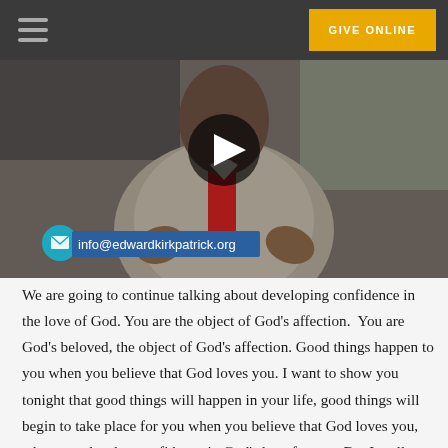GIVE ONLINE
[Figure (screenshot): Video thumbnail of a preacher in a gray suit with a red tie, with a play button overlay and an email badge showing info@edwardkirkpatrick.org]
We are going to continue talking about developing confidence in the love of God. You are the object of God’s affection.  You are God’s beloved, the object of God’s affection. Good things happen to you when you believe that God loves you. I want to show you tonight that good things will happen in your life, good things will begin to take place for you when you believe that God loves you, when you develop confidence in God’s love for you. But I really believe that religion tries to get us, tries to